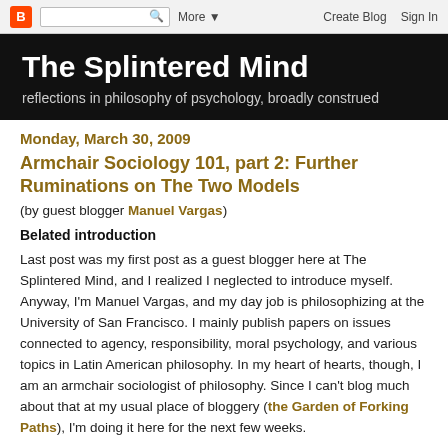Blogger navbar: [B icon] [search box] More ▼  |  Create Blog  Sign In
The Splintered Mind
reflections in philosophy of psychology, broadly construed
Monday, March 30, 2009
Armchair Sociology 101, part 2: Further Ruminations on The Two Models
(by guest blogger Manuel Vargas)
Belated introduction
Last post was my first post as a guest blogger here at The Splintered Mind, and I realized I neglected to introduce myself. Anyway, I'm Manuel Vargas, and my day job is philosophizing at the University of San Francisco. I mainly publish papers on issues connected to agency, responsibility, moral psychology, and various topics in Latin American philosophy. In my heart of hearts, though, I am an armchair sociologist of philosophy. Since I can't blog much about that at my usual place of bloggery (the Garden of Forking Paths), I'm doing it here for the next few weeks.